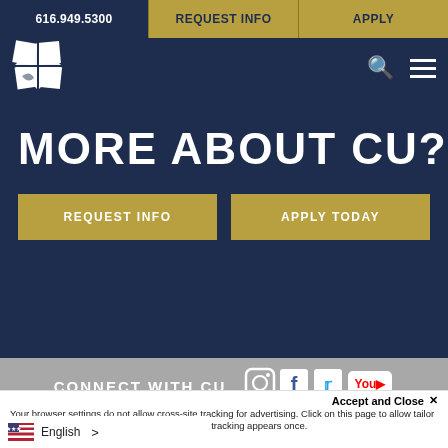616.949.5300 | REQUEST INFO | APPLY
[Figure (logo): Cornerstone University logo — white diamond/leaf icon on navy background]
MORE ABOUT CU?
REQUEST INFO
APPLY TODAY
CONNECT WITH CU
[Figure (infographic): Social media icons: Instagram, Facebook, Twitter, YouTube]
Accept and Close ×
Your browser settings do not allow cross-site tracking for advertising. Click on this page to allow tailor ads to you. Learn more or opt out of this AdRoll tracking appears once.
English >